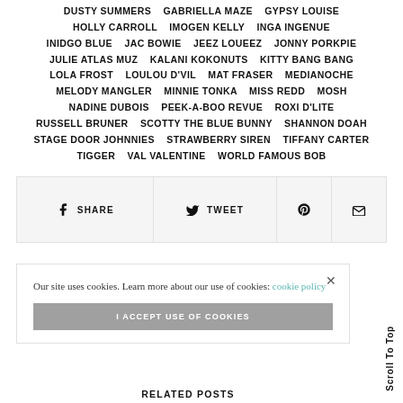DUSTY SUMMERS  GABRIELLA MAZE  GYPSY LOUISE  HOLLY CARROLL  IMOGEN KELLY  INGA INGENUE  INIDGO BLUE  JAC BOWIE  JEEZ LOUEEZ  JONNY PORKPIE  JULIE ATLAS MUZ  KALANI KOKONUTS  KITTY BANG BANG  LOLA FROST  LOULOU D'VIL  MAT FRASER  MEDIANOCHE  MELODY MANGLER  MINNIE TONKA  MISS REDD  MOSH  NADINE DUBOIS  PEEK-A-BOO REVUE  ROXI D'LITE  RUSSELL BRUNER  SCOTTY THE BLUE BUNNY  SHANNON DOAH  STAGE DOOR JOHNNIES  STRAWBERRY SIREN  TIFFANY CARTER  TIGGER  VAL VALENTINE  WORLD FAMOUS BOB
[Figure (other): Social sharing bar with Facebook Share, Twitter Tweet, Pinterest, and Email buttons]
[Figure (other): Cookie consent popup with text 'Our site uses cookies. Learn more about our use of cookies: cookie policy' and 'I ACCEPT USE OF COOKIES' button, plus a close (x) button]
Scroll To Top
RELATED POSTS